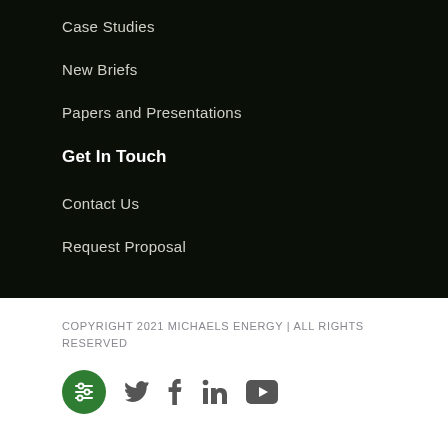Case Studies
New Briefs
Papers and Presentations
Get In Touch
Contact Us
Request Proposal
COPYRIGHT 2021 MICHAELS ENERGY | ALL RIGHTS RESERVED
[Figure (infographic): Social media icons: green settings/sliders circle icon, Twitter bird, Facebook f, LinkedIn in, YouTube play button]